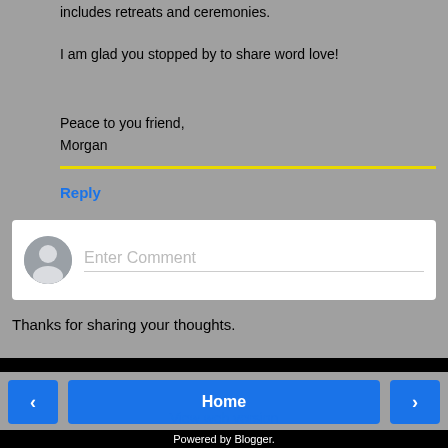includes retreats and ceremonies.
I am glad you stopped by to share word love!
Peace to you friend,
Morgan
Reply
[Figure (screenshot): Comment input box with user avatar and placeholder text 'Enter Comment']
Thanks for sharing your thoughts.
Home
View web version
Powered by Blogger.